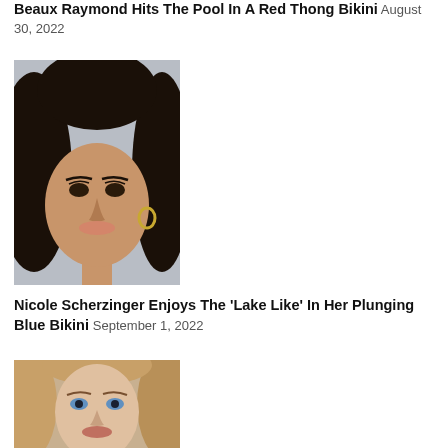Beaux Raymond Hits The Pool In A Red Thong Bikini August 30, 2022
[Figure (photo): Close-up portrait of Nicole Scherzinger with dark hair, smoky eye makeup, and gold hoop earring, against a light background.]
Nicole Scherzinger Enjoys The ‘Lake Like’ In Her Plunging Blue Bikini September 1, 2022
[Figure (photo): Close-up portrait of a woman with light brown/blonde streaked hair and blue eyes, looking at camera.]